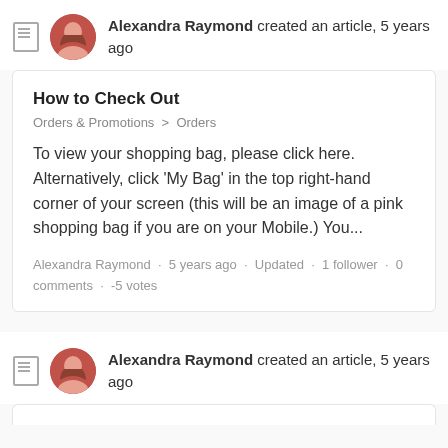Alexandra Raymond created an article, 5 years ago
How to Check Out
Orders & Promotions > Orders
To view your shopping bag, please click here. Alternatively, click 'My Bag' in the top right-hand corner of your screen (this will be an image of a pink shopping bag if you are on your Mobile.) You...
Alexandra Raymond · 5 years ago · Updated · 1 follower · 0 comments · -5 votes
Alexandra Raymond created an article, 5 years ago